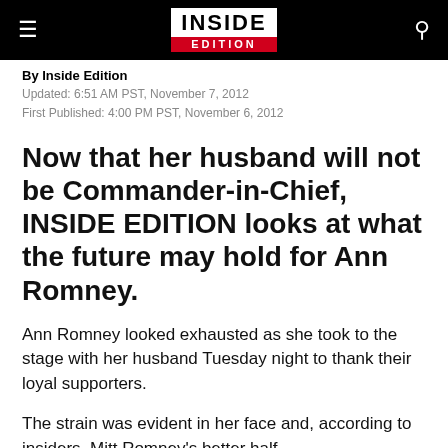INSIDE EDITION
By Inside Edition
Updated: 6:51 AM PST, November 7, 2012
First Published: 4:00 PM PST, November 6, 2012
Now that her husband will not be Commander-in-Chief, INSIDE EDITION looks at what the future may hold for Ann Romney.
Ann Romney looked exhausted as she took to the stage with her husband Tuesday night to thank their loyal supporters.
The strain was evident in her face and, according to insiders, Mitt Romney's better half